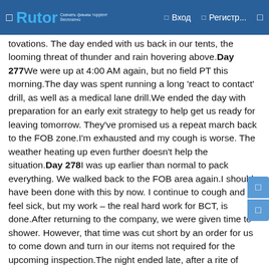Rutor — Вход Регистр...
tovations. The day ended with us back in our tents, the looming threat of thunder and rain hovering above.Day 277We were up at 4:00 AM again, but no field PT this morning.The day was spent running a long 'react to contact' drill, as well as a medical lane drill.We ended the day with preparation for an early exit strategy to help get us ready for leaving tomorrow. They've promised us a repeat march back to the FOB zone.I'm exhausted and my cough is worse. The weather heating up even further doesn't help the situation.Day 278I was up earlier than normal to pack everything. We walked back to the FOB area again.I should have been done with this by now. I continue to cough and feel sick, but my work – the real hard work for BCT, is done.After returning to the company, we were given time to shower. However, that time was cut short by an order for us to come down and turn in our items not required for the upcoming inspection.The night ended late, after a rite of passage ceremony to welcome us into the brotherhood of soldiers. Even this was different from how it was in Alpha.Day 279Today we were woken up extremely early to go do a 'battalion fun run'. The rest of the day was spent cleaning our equipment and the